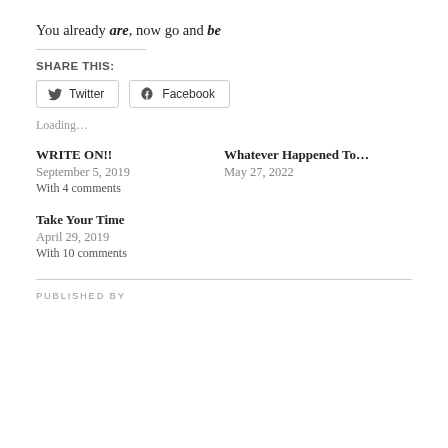You already are, now go and be
SHARE THIS:
Twitter  Facebook
Loading…
WRITE ON!!
September 5, 2019
With 4 comments
Whatever Happened To…
May 27, 2022
Take Your Time
April 29, 2019
With 10 comments
PUBLISHED BY